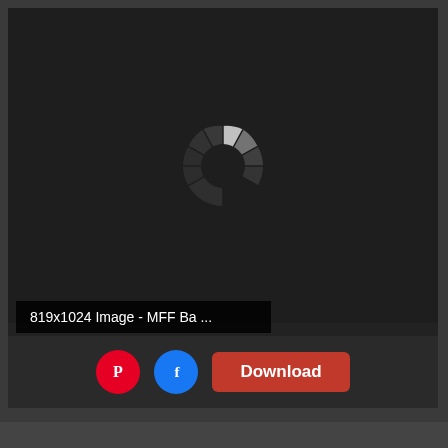[Figure (screenshot): Dark background image area showing a loading spinner (circular arc with glowing white segment at top-right) on a very dark background]
819x1024 Image - MFF Ba ...
[Figure (other): Pinterest red circle icon button]
[Figure (other): Facebook blue circle icon button]
Download